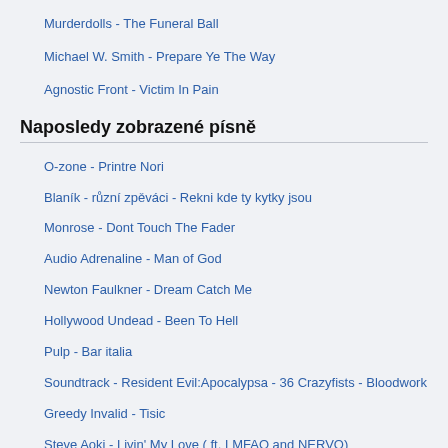Murderdolls - The Funeral Ball
Michael W. Smith - Prepare Ye The Way
Agnostic Front - Victim In Pain
Naposledy zobrazené písně
O-zone - Printre Nori
Blaník - různí zpěváci - Rekni kde ty kytky jsou
Monrose - Dont Touch The Fader
Audio Adrenaline - Man of God
Newton Faulkner - Dream Catch Me
Hollywood Undead - Been To Hell
Pulp - Bar italia
Soundtrack - Resident Evil:Apocalypsa - 36 Crazyfists - Bloodwork
Greedy Invalid - Tisic
Steve Aoki - Livin' My Love ( ft. LMFAO and NERVO)